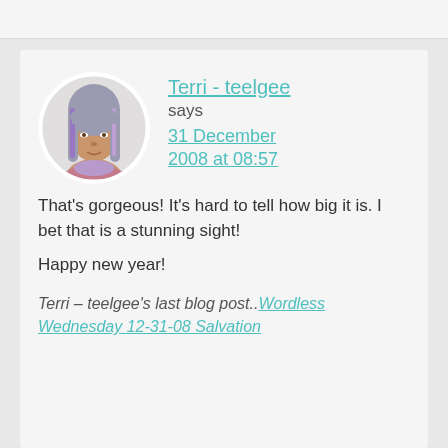[Figure (photo): Circular avatar photo of a woman with multicolored (grey, purple, lavender) long hair with bangs, wearing a pink/mauve top, on a white circular background.]
Terri - teelgee
says
31 December 2008 at 08:57
That's gorgeous! It's hard to tell how big it is. I bet that is a stunning sight!
Happy new year!
Terri – teelgee's last blog post..Wordless Wednesday 12-31-08 Salvation